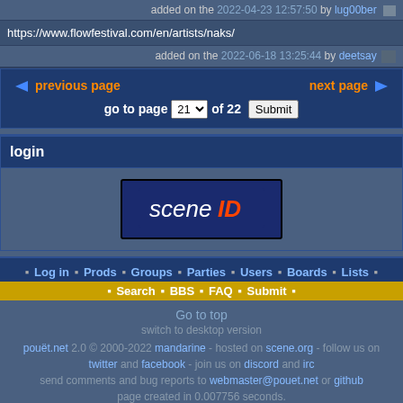added on the 2022-04-23 12:57:50 by lug00ber
https://www.flowfestival.com/en/artists/naks/
added on the 2022-06-18 13:25:44 by deetsay
previous page  next page  go to page 21 of 22 Submit
login
[Figure (logo): sceneID logo button]
Log in • Prods • Groups • Parties • Users • Boards • Lists • Search • BBS • FAQ • Submit •
Go to top
switch to desktop version
pouët.net 2.0 © 2000-2022 mandarine - hosted on scene.org - follow us on twitter and facebook - join us on discord and irc
send comments and bug reports to webmaster@pouet.net or github
page created in 0.007756 seconds.